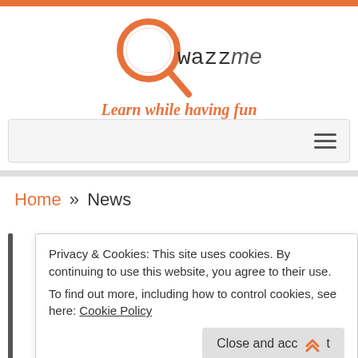[Figure (logo): QwazzMe logo with magnifying glass icon and text 'wazzme', orange and dark styling]
Learn while having fun
[Figure (other): Navigation bar with hamburger menu icon]
Home » News
Privacy & Cookies: This site uses cookies. By continuing to use this website, you agree to their use. To find out more, including how to control cookies, see here: Cookie Policy
Close and accept